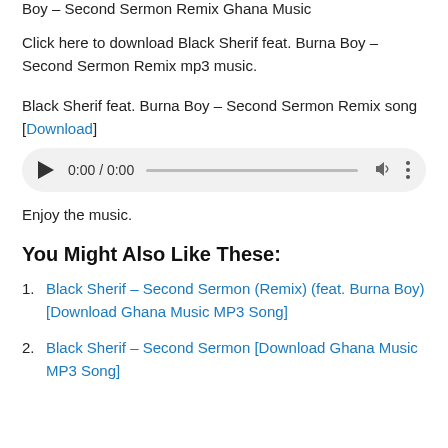Boy – Second Sermon Remix Ghana Music
Click here to download Black Sherif feat. Burna Boy – Second Sermon Remix mp3 music.
Black Sherif feat. Burna Boy – Second Sermon Remix song [Download]
[Figure (other): Audio player widget showing 0:00 / 0:00 with play button, progress bar, volume and more options icons]
Enjoy the music.
You Might Also Like These:
Black Sherif – Second Sermon (Remix) (feat. Burna Boy) [Download Ghana Music MP3 Song]
Black Sherif – Second Sermon [Download Ghana Music MP3 Song]